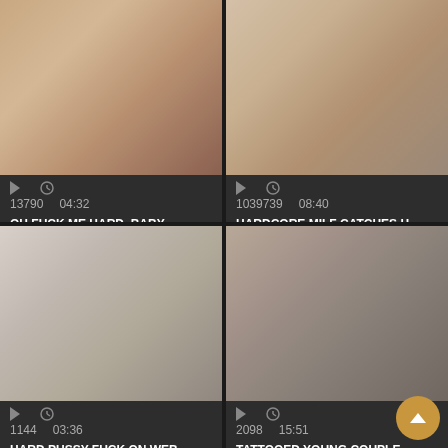[Figure (screenshot): Video thumbnail grid - top left: intimate scene on bed]
13790  04:32
OH,FUCK ME HARD, BABY
[Figure (screenshot): Video thumbnail grid - top right: two women scene]
1039739  08:40
HARDCORE MILF CATCHES H...
[Figure (screenshot): Video thumbnail grid - bottom left: close-up scene]
1144  03:36
HARD PUSSY FUCK ON WEB...
[Figure (screenshot): Video thumbnail grid - bottom right: couple scene with tattoos]
2098  15:51
TATTOOED YOUNG COUPLE...